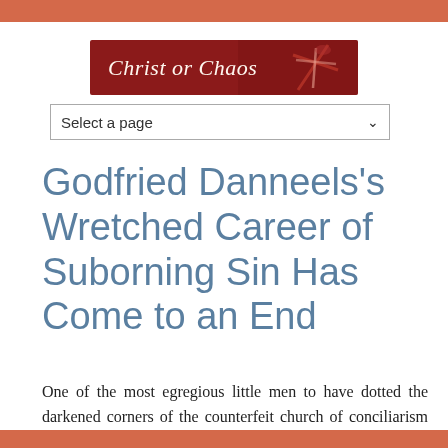[Figure (logo): Christ or Chaos website logo banner — red background with italic white text 'Christ or Chaos' and a decorative cross graphic on the right side]
[Figure (screenshot): A dropdown select element with placeholder text 'Select a page' and a downward chevron arrow]
Godfried Danneels's Wretched Career of Suborning Sin Has Come to an End
One of the most egregious little men to have dotted the darkened corners of the counterfeit church of conciliarism was the late Godfried Danneels, who was the conciliar "archbishop"